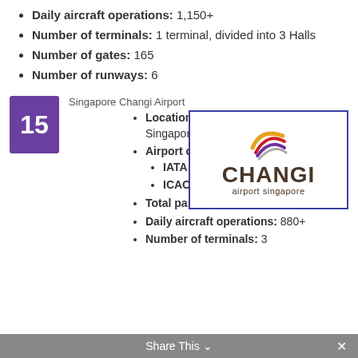Daily aircraft operations: 1,150+
Number of terminals: 1 terminal, divided into 3 Halls
Number of gates: 165
Number of runways: 6
15
Singapore Changi Airport
[Figure (logo): Changi Airport Singapore logo with swirl graphic and text 'CHANGI airport singapore']
Location: Changi, East Region, Singapore
Airport codes:
IATA: SIN
ICAO: WSSS
Total passengers in 2012: 51,181,804
Daily aircraft operations: 880+
Number of terminals: 3
Share This ×